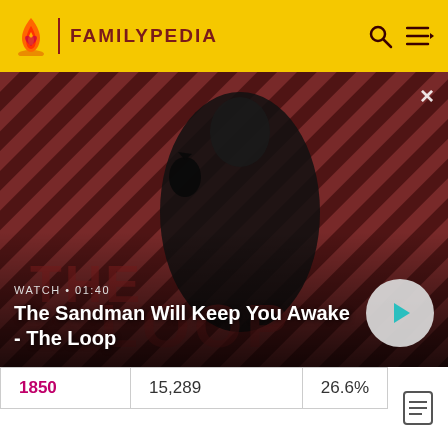FAMILYPEDIA
[Figure (screenshot): Video banner showing 'The Sandman Will Keep You Awake - The Loop' with a dark-clad figure and a raven on a striped red background. WATCH • 01:40 label and play button visible.]
| Year | Population | Percent |
| --- | --- | --- |
| 1850 | 15,289 | 26.6% |
| 1860 | 22,517 | 47.3% |
| 1870 | 33,549 | 49.0% |
| 1880 | 45,658 | 36.1% |